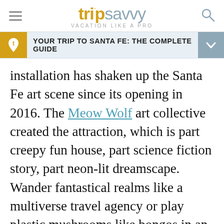tripsavvy VACATION LIKE A PRO
YOUR TRIP TO SANTA FE: THE COMPLETE GUIDE
installation has shaken up the Santa Fe art scene since its opening in 2016. The Meow Wolf art collective created the attraction, which is part creepy fun house, part science fiction story, part neon-lit dreamscape. Wander fantastical realms like a multiverse travel agency or play plastic mushrooms like bongos in an unearthly forest.
4 p.m.: For an afternoon cocktail that goes down
[Figure (other): Advertisement placeholder with dot pattern background]